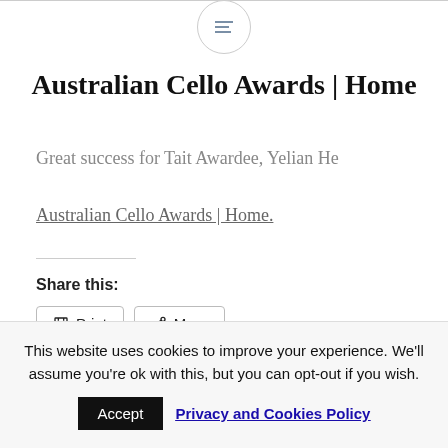[Figure (logo): Small circular icon with horizontal lines (hamburger/menu icon)]
Australian Cello Awards | Home
Great success for Tait Awardee, Yelian He
Australian Cello Awards | Home.
Share this:
Print  More
This website uses cookies to improve your experience. We'll assume you're ok with this, but you can opt-out if you wish.
Accept  Privacy and Cookies Policy